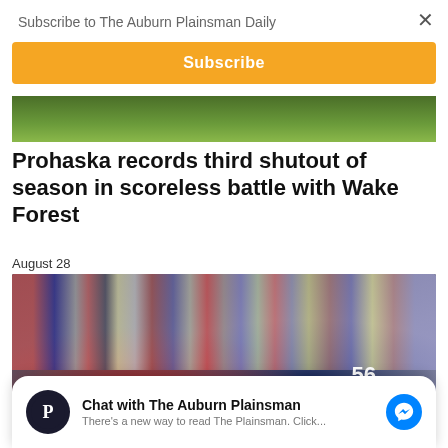Subscribe to The Auburn Plainsman Daily
×
Subscribe
[Figure (photo): Green football field photo, partial view]
Prohaska records third shutout of season in scoreless battle with Wake Forest
August 28
[Figure (photo): Auburn football players on the field during a game, with large crowd in the background. Player #56 visible.]
Chat with The Auburn Plainsman
There's a new way to read The Plainsman. Click...